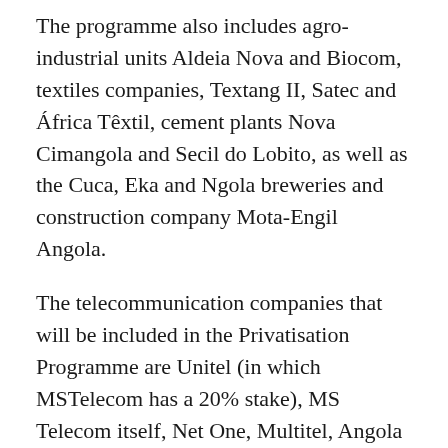The programme also includes agro-industrial units Aldeia Nova and Biocom, textiles companies, Textang II, Satec and África Têxtil, cement plants Nova Cimangola and Secil do Lobito, as well as the Cuca, Eka and Ngola breweries and construction company Mota-Engil Angola.
The telecommunication companies that will be included in the Privatisation Programme are Unitel (in which MSTelecom has a 20% stake), MS Telecom itself, Net One, Multitel, Angola Telecom, TV Cabo Angola, Angola Cables, Angolan postal company ENCTA, Angola Comunicações e Sistemas (ACS) and telephone directory company ELTA.
Other companies listed for privatisation are